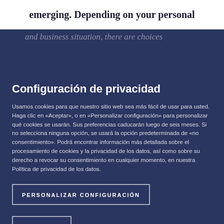emerging. Depending on your personal
and business situation, there are choices
Configuración de privacidad
Usamos cookies para que nuestro sitio web sea más fácil de usar para usted. Haga clic en «Aceptar», o en «Personalizar configuración» para personalizar qué cookies se usarán. Sus preferencias caducarán luego de seis meses. Si no selecciona ninguna opción, se usará la opción predeterminada de «no consentimiento». Podrá encontrar información más detallada sobre el procesamiento de cookies y la privacidad de los datos, así como sobre su derecho a revocar su consentimiento en cualquier momento, en nuestra Política de privacidad de los datos.
new regulation are drawing Switzerland's financial architecture, ushering in major change for wealth
PERSONALIZAR CONFIGURACIÓN
ACEPTAR
Early experience has furnished firms like PwC with key learnings about the FINMA authorisation process, e.g. in